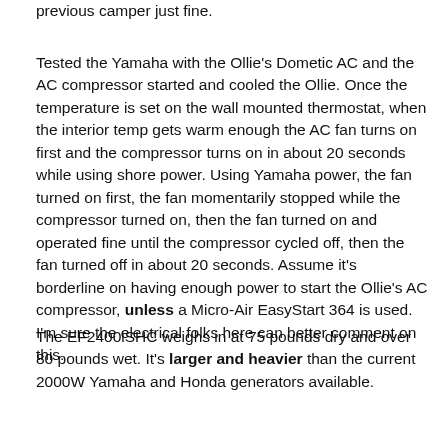previous camper just fine.
Tested the Yamaha with the Ollie's Dometic AC and the AC compressor started and cooled the Ollie. Once the temperature is set on the wall mounted thermostat, when the interior temp gets warm enough the AC fan turns on first and the compressor turns on in about 20 seconds while using shore power.  Using Yamaha power, the fan turned on first, the fan momentarily stopped while the compressor turned on, then the fan turned on and operated fine until the compressor cycled off, then the fan turned off in about 20 seconds.  Assume it's borderline on having enough power to start the Ollie's AC compressor, unless a Micro-Air  EasyStart 364 is used.  I'm sure the electrical folks here can better comment on this.
The EF2400iSHC  weighs in at 75 pounds dry and over 80 pounds wet. It's larger and heavier than the current 2000W Yamaha and Honda generators available.